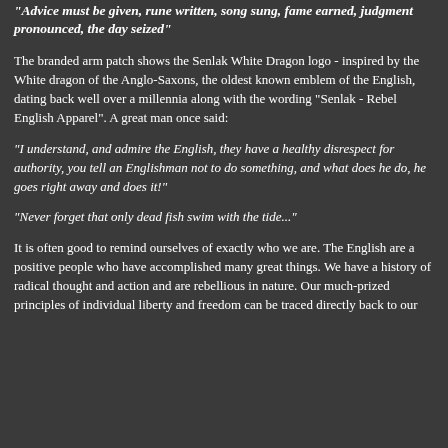"Advice must be given, rune written, song sung, fame earned, judgment pronounced, the day seized"
The branded arm patch shows the Senlak White Dragon logo - inspired by the White dragon of the Anglo-Saxons, the oldest known emblem of the English, dating back well over a millennia along with the wording "Senlak - Rebel English Apparel". A great man once said:
"I understand, and admire the English, they have a healthy disrespect for authority, you tell an Englishman not to do something, and what does he do, he goes right away and does it!"
"Never forget that only dead fish swim with the tide..."
It is often good to remind ourselves of exactly who we are. The English are a positive people who have accomplished many great things. We have a history of radical thought and action and are rebellious in nature. Our much-prized principles of individual liberty and freedom can be traced directly back to our